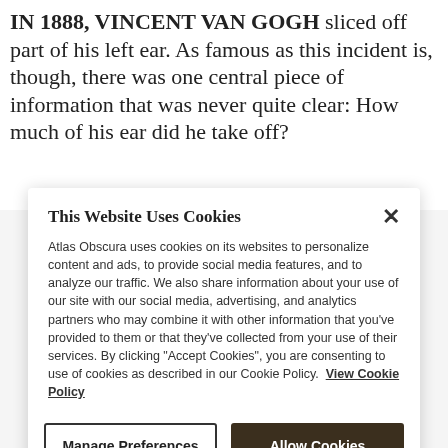IN 1888, VINCENT VAN GOGH sliced off part of his left ear. As famous as this incident is, though, there was one central piece of information that was never quite clear: How much of his ear did he take off?
W
o
r
t
–
t
t
This Website Uses Cookies
Atlas Obscura uses cookies on its websites to personalize content and ads, to provide social media features, and to analyze our traffic. We also share information about your use of our site with our social media, advertising, and analytics partners who may combine it with other information that you've provided to them or that they've collected from your use of their services. By clicking "Accept Cookies", you are consenting to use of cookies as described in our Cookie Policy.  View Cookie Policy
Manage Preferences
Allow Cookies